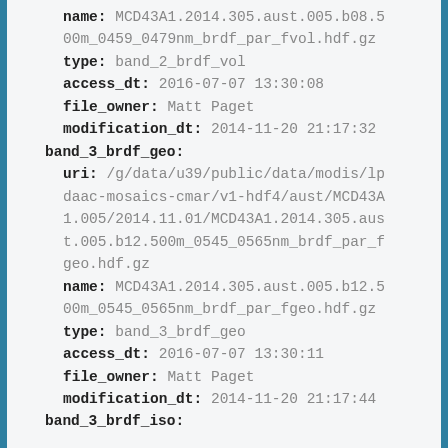name: MCD43A1.2014.305.aust.005.b08.500m_0459_0479nm_brdf_par_fvol.hdf.gz
type: band_2_brdf_vol
access_dt: 2016-07-07 13:30:08
file_owner: Matt Paget
modification_dt: 2014-11-20 21:17:32
band_3_brdf_geo:
  uri: /g/data/u39/public/data/modis/lpdaac-mosaics-cmar/v1-hdf4/aust/MCD43A1.005/2014.11.01/MCD43A1.2014.305.aust.005.b12.500m_0545_0565nm_brdf_par_fgeo.hdf.gz
  name: MCD43A1.2014.305.aust.005.b12.500m_0545_0565nm_brdf_par_fgeo.hdf.gz
  type: band_3_brdf_geo
  access_dt: 2016-07-07 13:30:11
  file_owner: Matt Paget
  modification_dt: 2014-11-20 21:17:44
band_3_brdf_iso: